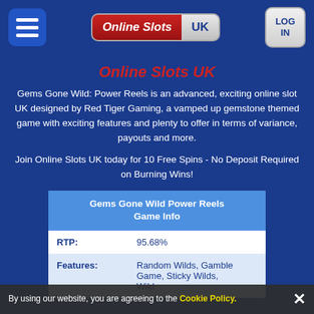[Figure (logo): Online Slots UK website header with hamburger menu, Online Slots UK logo (red and grey), and Login button]
Online Slots UK
Gems Gone Wild: Power Reels is an advanced, exciting online slot UK designed by Red Tiger Gaming, a vamped up gemstone themed game with exciting features and plenty to offer in terms of variance, payouts and more.
Join Online Slots UK today for 10 Free Spins - No Deposit Required on Burning Wins!
| Gems Gone Wild Power Reels Game Info |
| --- |
| RTP: | 95.68% |
| Features: | Random Wilds, Gamble Game, Sticky Wilds, Wild |
By using our website, you are agreeing to the Cookie Policy.